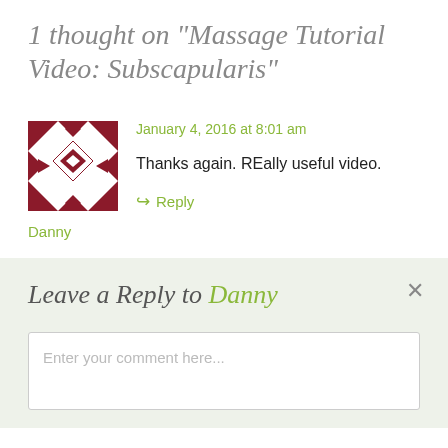1 thought on “Massage Tutorial Video: Subscapularis”
[Figure (illustration): Red and white geometric pattern avatar/gravatar for user Danny]
Danny
January 4, 2016 at 8:01 am
Thanks again. REally useful video.
→ Reply
Leave a Reply to Danny
Enter your comment here...